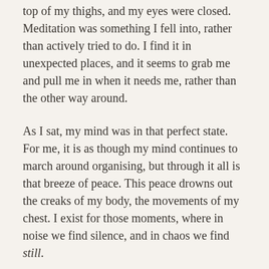top of my thighs, and my eyes were closed. Meditation was something I fell into, rather than actively tried to do. I find it in unexpected places, and it seems to grab me and pull me in when it needs me, rather than the other way around.
As I sat, my mind was in that perfect state. For me, it is as though my mind continues to march around organising, but through it all is that breeze of peace. This peace drowns out the creaks of my body, the movements of my chest. I exist for those moments, where in noise we find silence, and in chaos we find still.
I slowly came to, and I realised that although having heard some hard news lately, it didn't crush my world. When life slips down the hill, Katie and I often turn to each other and ask each other the same question: What